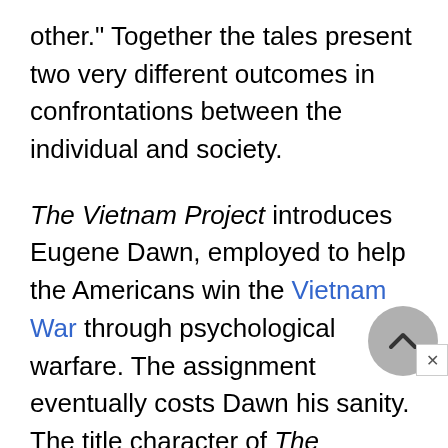other." Together the tales present two very different outcomes in confrontations between the individual and society.
The Vietnam Project introduces Eugene Dawn, employed to help the Americans win the Vietnam War through psychological warfare. The assignment eventually costs Dawn his sanity. The title character of The Narrative of Jacobus Coetzee, a fictionalized ancestor of the author, is